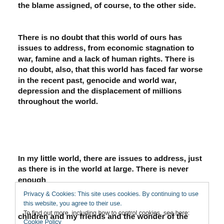the blame assigned, of course, to the other side.
There is no doubt that this world of ours has issues to address, from economic stagnation to war, famine and a lack of human rights. There is no doubt, also, that this world has faced far worse in the recent past, genocide and world war, depression and the displacement of millions throughout the world.
In my little world, there are issues to address, just as there is in the world at large. There is never enough
Privacy & Cookies: This site uses cookies. By continuing to use this website, you agree to their use.
To find out more, including how to control cookies, see here: Cookie Policy
[Close and accept]
children and my friends and the wonder of the natural